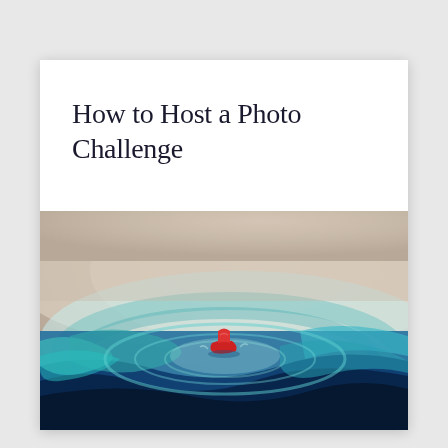How to Host a Photo Challenge
[Figure (photo): A small red paper boat or toy floating on swirling blue and teal ink or paint in water, with a beige/white curved surface in the background.]